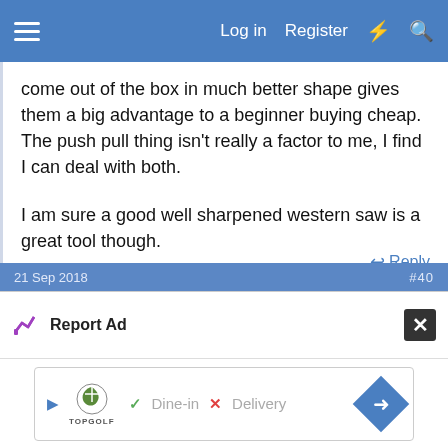Log in  Register
come out of the box in much better shape gives them a big advantage to a beginner buying cheap. The push pull thing isn't really a factor to me, I find I can deal with both.

I am sure a good well sharpened western saw is a great tool though.
Sent from my Redmi Note 5 using Tapatalk
21 Sep 2018   #40
Report Ad
[Figure (screenshot): Advertisement banner for Topgolf showing Dine-in with checkmark and Delivery with X mark, and a blue diamond arrow icon on the right.]